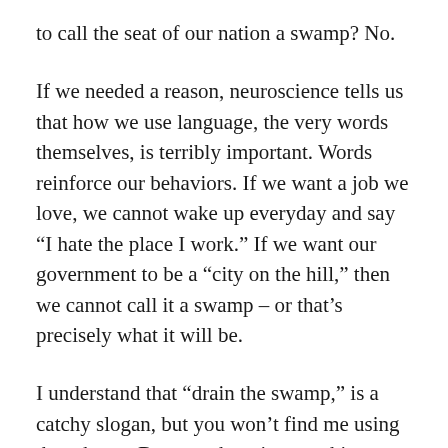to call the seat of our nation a swamp? No.
If we needed a reason, neuroscience tells us that how we use language, the very words themselves, is terribly important. Words reinforce our behaviors. If we want a job we love, we cannot wake up everyday and say “I hate the place I work.” If we want our government to be a “city on the hill,” then we cannot call it a swamp – or that’s precisely what it will be.
I understand that “drain the swamp,” is a catchy slogan, but you won’t find me using that phrase. Because there is something about making this flight today that reminds me again of that feeling from